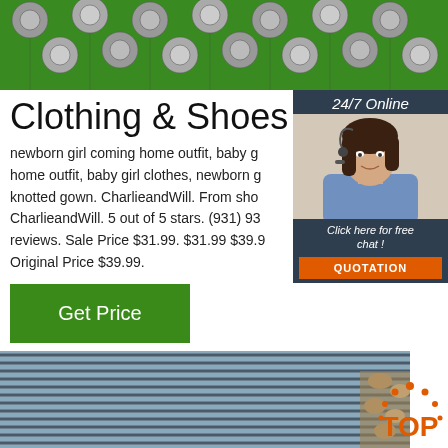[Figure (photo): Close-up photo of metal rebar/rod ends with green background, arranged in a grid pattern]
Clothing & Shoes
[Figure (infographic): 24/7 Online customer service sidebar with photo of woman with headset, 'Click here for free chat!' text and orange QUOTATION button]
newborn girl coming home outfit, baby g home outfit, baby girl clothes, newborn g knotted gown. CharlieandWill. From sho CharlieandWill. 5 out of 5 stars. (931) 93 reviews. Sale Price $31.99. $31.99 $39.9 Original Price $39.99.
[Figure (other): Green 'Get Price' button]
[Figure (photo): Photo of bundled steel rebar/reinforcement bars stacked together]
[Figure (logo): TOP logo with orange dotted crown icon in bottom right corner]